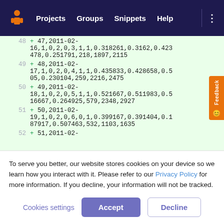Projects  Groups  Snippets  Help
48  + 47,2011-02-16,1,0,2,0,3,1,1,0.318261,0.3162,0.423478,0.251791,218,1897,2115
49  + 48,2011-02-17,1,0,2,0,4,1,1,0.435833,0.428658,0.505,0.230104,259,2216,2475
50  + 49,2011-02-18,1,0,2,0,5,1,1,0.521667,0.511983,0.516667,0.264925,579,2348,2927
51  + 50,2011-02-19,1,0,2,0,6,0,1,0.399167,0.391404,0.187917,0.507463,532,1103,1635
52  + 51,2011-02-
To serve you better, our website stores cookies on your device so we learn how you interact with it. Please refer to our Privacy Policy for more information. If you decline, your information will not be tracked.
Cookies settings
Accept
Decline